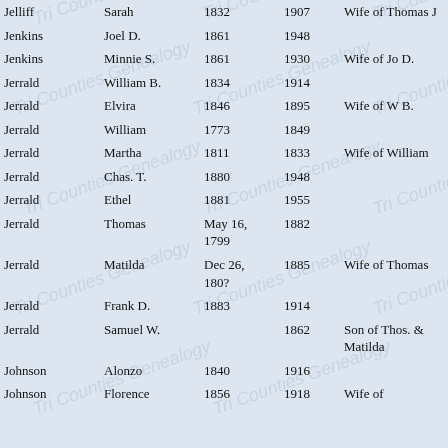| Last Name | First Name | Birth | Death | Notes |
| --- | --- | --- | --- | --- |
| Jelliff | Sarah | 1832 | 1907 | Wife of Thomas J |
| Jenkins | Joel D. | 1861 | 1948 |  |
| Jenkins | Minnie S. | 1861 | 1930 | Wife of Jo D. |
| Jerrald | William B. | 1834 | 1914 |  |
| Jerrald | Elvira | 1846 | 1895 | Wife of W B. |
| Jerrald | William | 1773 | 1849 |  |
| Jerrald | Martha | 1811 | 1833 | Wife of William |
| Jerrald | Chas. T. | 1880 | 1948 |  |
| Jerrald | Ethel | 1881 | 1955 |  |
| Jerrald | Thomas | May 16, 1799 | 1882 |  |
| Jerrald | Matilda | Dec 26, 180? | 1885 | Wife of Thomas |
| Jerrald | Frank D. | 1883 | 1914 |  |
| Jerrald | Samuel W. |  | 1862 | Son of Thos. & Matilda |
| Johnson | Alonzo | 1840 | 1916 |  |
| Johnson | Florence | 1856 | 1918 | Wife of |